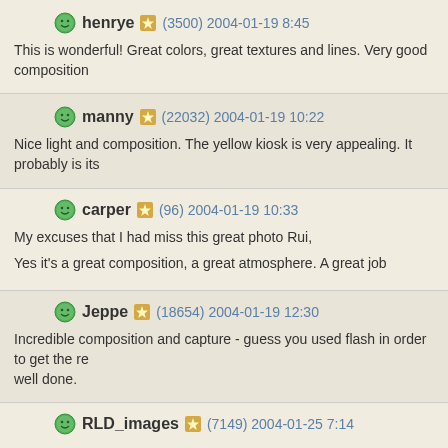henrye (3500) 2004-01-19 8:45
This is wonderful! Great colors, great textures and lines. Very good composition
manny (22032) 2004-01-19 10:22
Nice light and composition. The yellow kiosk is very appealing. It probably is its
carper (96) 2004-01-19 10:33
My excuses that I had miss this great photo Rui,
Yes it's a great composition, a great atmosphere. A great job
Jeppe (18654) 2004-01-19 12:30
Incredible composition and capture - guess you used flash in order to get the re well done.
RLD_images (7149) 2004-01-25 7:14